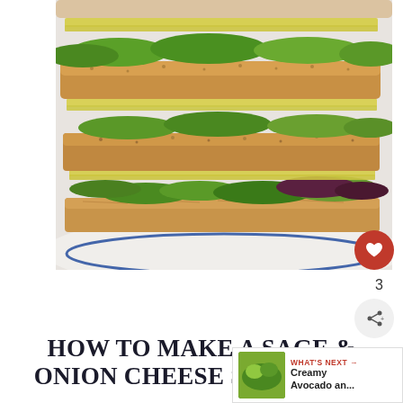[Figure (photo): Close-up photo of a tall layered sage and onion cheese sandwich on wholegrain bread with lettuce, cheese slices, and white sauce, served on a white plate with blue rim]
HOW TO MAKE A SAGE & ONION CHEESE SANDWICH
3
[Figure (screenshot): What's Next panel showing thumbnail of Creamy Avocado an... recipe]